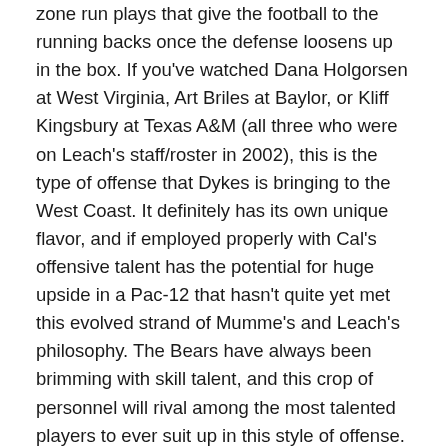zone run plays that give the football to the running backs once the defense loosens up in the box. If you've watched Dana Holgorsen at West Virginia, Art Briles at Baylor, or Kliff Kingsbury at Texas A&M (all three who were on Leach's staff/roster in 2002), this is the type of offense that Dykes is bringing to the West Coast. It definitely has its own unique flavor, and if employed properly with Cal's offensive talent has the potential for huge upside in a Pac-12 that hasn't quite yet met this evolved strand of Mumme's and Leach's philosophy. The Bears have always been brimming with skill talent, and this crop of personnel will rival among the most talented players to ever suit up in this style of offense.
The hope with Franklin and with Dykes is that with their innovative scheme, they can revive a moribund Cal...